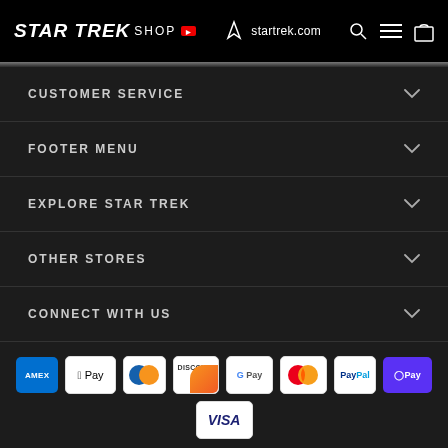STAR TREK SHOP — startrek.com
CUSTOMER SERVICE
FOOTER MENU
EXPLORE STAR TREK
OTHER STORES
CONNECT WITH US
[Figure (other): Payment method icons: American Express, Apple Pay, Diners Club, Discover, Google Pay, Mastercard, PayPal, Shop Pay, Visa]